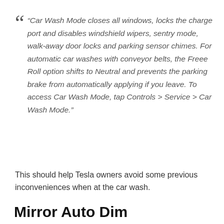“Car Wash Mode closes all windows, locks the charge port and disables windshield wipers, sentry mode, walk-away door locks and parking sensor chimes. For automatic car washes with conveyor belts, the Freee Roll option shifts to Neutral and prevents the parking brake from automatically applying if you leave. To access Car Wash Mode, tap Controls > Service > Car Wash Mode.”
This should help Tesla owners avoid some previous inconveniences when at the car wash.
Mirror Auto Dim